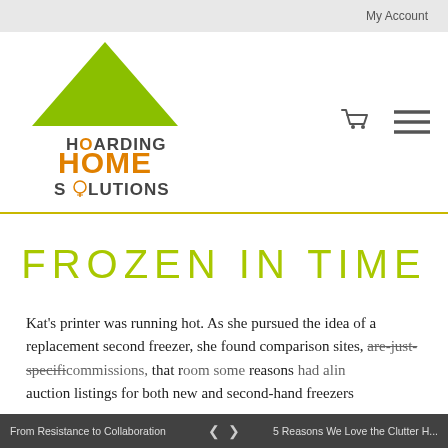My Account
[Figure (logo): Hoarding Home Solutions logo with green triangle roof shape above text. 'HOARDING' in dark gray uppercase, 'HOME' in orange large uppercase letters, 'SOLUTIONS' in dark gray uppercase with a lightbulb icon replacing the 'O'.]
FROZEN IN TIME
Kat's printer was running hot. As she pursued the idea of a replacement second freezer, she found comparison sites, are-just-specific-ommissions, that room-some-reasons-had-auction listings for both new and second-hand freezers.
From Resistance to Collaboration    ❮  ❯    5 Reasons We Love the Clutter H...